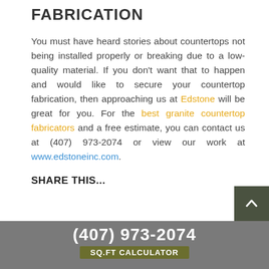FABRICATION
You must have heard stories about countertops not being installed properly or breaking due to a low-quality material. If you don't want that to happen and would like to secure your countertop fabrication, then approaching us at Edstone will be great for you. For the best granite countertop fabricators and a free estimate, you can contact us at (407) 973-2074 or view our work at www.edstoneinc.com.
SHARE THIS...
(407) 973-2074 SQ.FT CALCULATOR